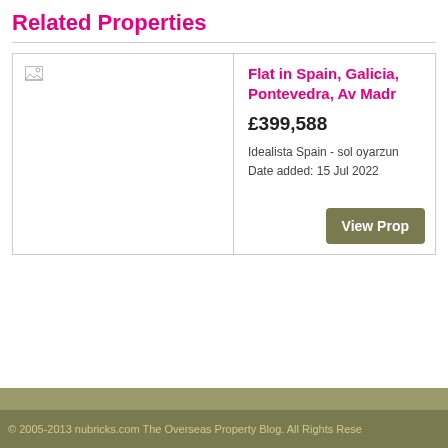Related Properties
[Figure (photo): Property image placeholder (broken image icon visible)]
Flat in Spain, Galicia, Pontevedra, Av Madr
£399,588
Idealista Spain - sol oyarzun
Date added: 15 Jul 2022
View Prop
© 2005-2013 nubricks.com The Overseas Property Blog. All Rights Rese